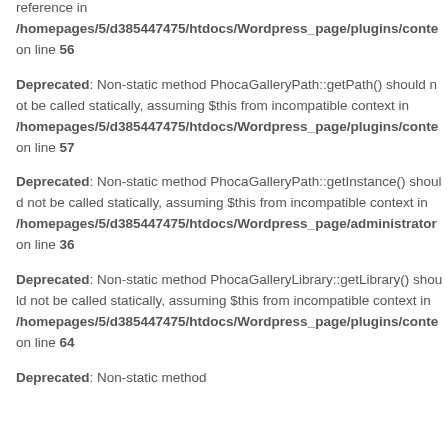reference in /homepages/5/d385447475/htdocs/Wordpress_page/plugins/conte on line 56
Deprecated: Non-static method PhocaGalleryPath::getPath() should not be called statically, assuming $this from incompatible context in /homepages/5/d385447475/htdocs/Wordpress_page/plugins/conte on line 57
Deprecated: Non-static method PhocaGalleryPath::getInstance() should not be called statically, assuming $this from incompatible context in /homepages/5/d385447475/htdocs/Wordpress_page/administrator on line 36
Deprecated: Non-static method PhocaGalleryLibrary::getLibrary() should not be called statically, assuming $this from incompatible context in /homepages/5/d385447475/htdocs/Wordpress_page/plugins/conte on line 64
Deprecated: Non-static method